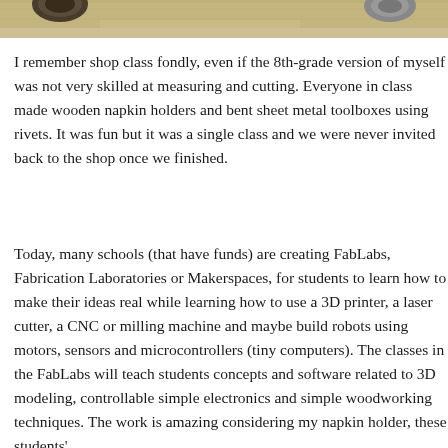[Figure (photo): Partial view of the bottom edge of a photograph showing objects on a wooden surface, cropped at top of page]
I remember shop class fondly, even if the 8th-grade version of myself was not very skilled at measuring and cutting. Everyone in class made wooden napkin holders and bent sheet metal toolboxes using rivets. It was fun but it was a single class and we were never invited back to the shop once we finished.
Today, many schools (that have funds) are creating FabLabs, Fabrication Laboratories or Makerspaces, for students to learn how to make their ideas real while learning how to use a 3D printer, a laser cutter, a CNC or milling machine and maybe build robots using motors, sensors and microcontrollers (tiny computers). The classes in the FabLabs will teach students concepts and software related to 3D modeling, controllable simple electronics and simple woodworking techniques. The work is amazing considering my napkin holder, these st